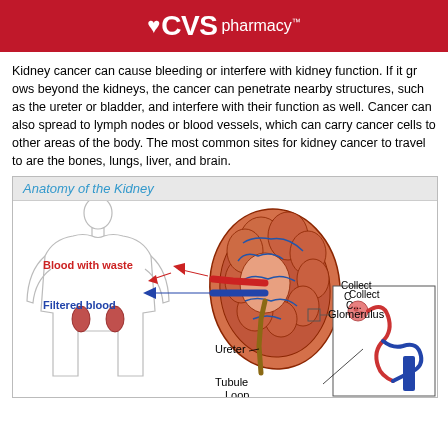CVS pharmacy
Kidney cancer can cause bleeding or interfere with kidney function. If it grows beyond the kidneys, the cancer can penetrate nearby structures, such as the ureter or bladder, and interfere with their function as well. Cancer can also spread to lymph nodes or blood vessels, which can carry cancer cells to other areas of the body. The most common sites for kidney cancer to travel to are the bones, lungs, liver, and brain.
[Figure (illustration): Anatomy of the Kidney diagram showing a cross-section of the kidney with labeled parts including Blood with waste (red arrow), Filtered blood (blue arrow), Ureter, Glomerulus, Collecting duct, Tubule, and Loop. Also shows a body silhouette with kidneys indicated and a magnified inset of kidney microstructure.]